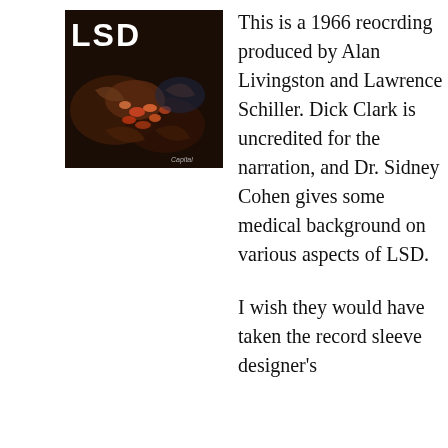[Figure (photo): Album cover for LSD (1966 recording). Dark photo showing multiple hands reaching toward colorful objects, with 'LSD' in bold white letters at the top left of the cover.]
This is a 1966 reocrding produced by Alan Livingston and Lawrence Schiller. Dick Clark is uncredited for the narration, and Dr. Sidney Cohen gives some medical background on various aspects of LSD.
I wish they would have taken the record sleeve designer's